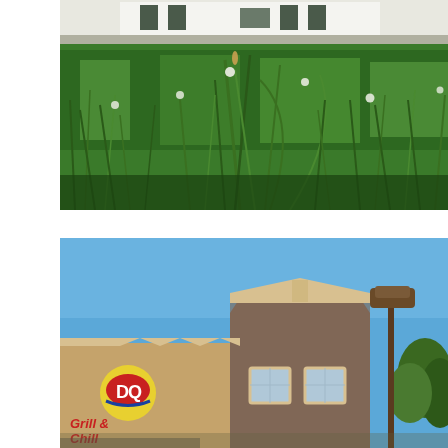[Figure (photo): Outdoor photo taken from ground level showing overgrown green grass and weeds with white clover flowers in the foreground, and a white building with dark trim visible in the background.]
[Figure (photo): Exterior photo of a Dairy Queen Grill & Chill restaurant with brick facade, featuring the DQ logo and 'Grill & Chill' signage on the left side, a tall parking lot light pole on the right, clear blue sky in the background, and trees on the far right.]